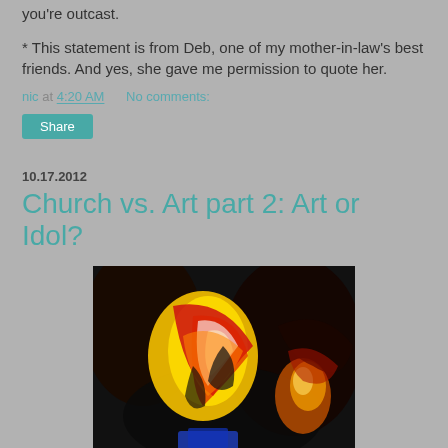you're outcast.
* This statement is from Deb, one of my mother-in-law's best friends. And yes, she gave me permission to quote her.
nic at 4:20 AM   No comments:
Share
10.17.2012
Church vs. Art part 2: Art or Idol?
[Figure (photo): Abstract colorful painting/artwork with red, orange, yellow, blue colors on dark background, appearing to show gestural brushstrokes suggesting a figure or form.]